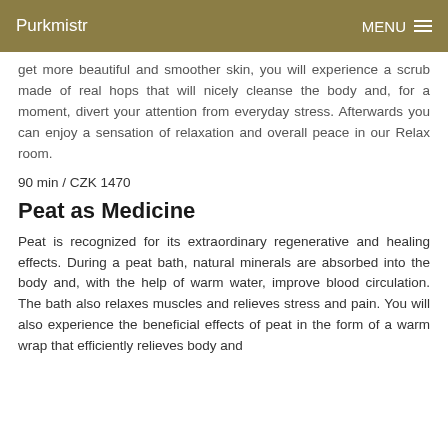Purkmistr   MENU
get more beautiful and smoother skin, you will experience a scrub made of real hops that will nicely cleanse the body and, for a moment, divert your attention from everyday stress. Afterwards you can enjoy a sensation of relaxation and overall peace in our Relax room.
90 min / CZK 1470
Peat as Medicine
Peat is recognized for its extraordinary regenerative and healing effects. During a peat bath, natural minerals are absorbed into the body and, with the help of warm water, improve blood circulation. The bath also relaxes muscles and relieves stress and pain. You will also experience the beneficial effects of peat in the form of a warm wrap that efficiently relieves body and